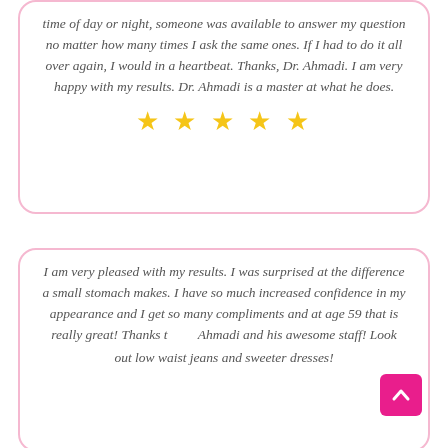time of day or night, someone was available to answer my question no matter how many times I ask the same ones. If I had to do it all over again, I would in a heartbeat. Thanks, Dr. Ahmadi. I am very happy with my results. Dr. Ahmadi is a master at what he does.
[Figure (other): Five gold star rating icons]
I am very pleased with my results. I was surprised at the difference a small stomach makes. I have so much increased confidence in my appearance and I get so many compliments and at age 59 that is really great! Thanks to Dr. Ahmadi and his awesome staff! Look out low waist jeans and sweater dresses!